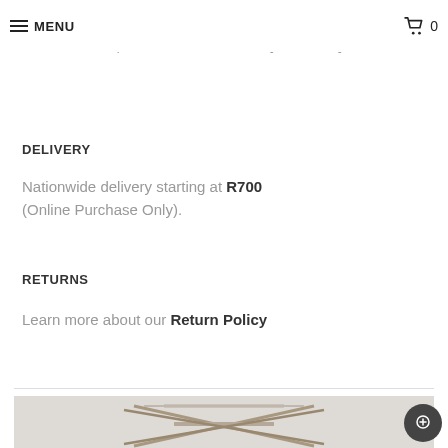MENU | 0
7-10 Special order items. Delivery times vary
DELIVERY
Nationwide delivery starting at R700 (Online Purchase Only).
RETURNS
Learn more about our Return Policy
[Figure (photo): Product photo showing a geometric metal chair or stool frame with angular X-shaped legs, viewed from above on a light stone/concrete background.]